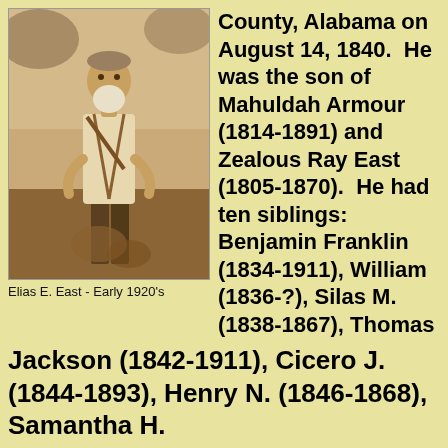[Figure (photo): Sepia-toned photograph of Elias E. East, an elderly man with a white beard wearing suspenders and light shirt, standing outdoors. Labeled 'Elias E. East - Early 1920's'.]
Elias E. East - Early 1920's
County, Alabama on August 14, 1840.  He was the son of Mahuldah Armour (1814-1891) and Zealous Ray East (1805-1870).  He had ten siblings: Benjamin Franklin (1834-1911), William (1836-?), Silas M. (1838-1867), Thomas Jackson (1842-1911), Cicero J. (1844-1893), Henry N. (1846-1868), Samantha H.